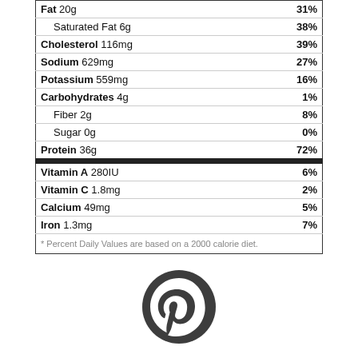| Nutrient | %DV |
| --- | --- |
| Fat 20g | 31% |
| Saturated Fat 6g | 38% |
| Cholesterol 116mg | 39% |
| Sodium 629mg | 27% |
| Potassium 559mg | 16% |
| Carbohydrates 4g | 1% |
| Fiber 2g | 8% |
| Sugar 0g | 0% |
| Protein 36g | 72% |
| Vitamin A 280IU | 6% |
| Vitamin C 1.8mg | 2% |
| Calcium 49mg | 5% |
| Iron 1.3mg | 7% |
* Percent Daily Values are based on a 2000 calorie diet.
[Figure (logo): Pinterest logo (circular P icon in dark gray)]
Like this recipe?
Visit @platingpixels on Pinterest to discover more. Pin it with button below to